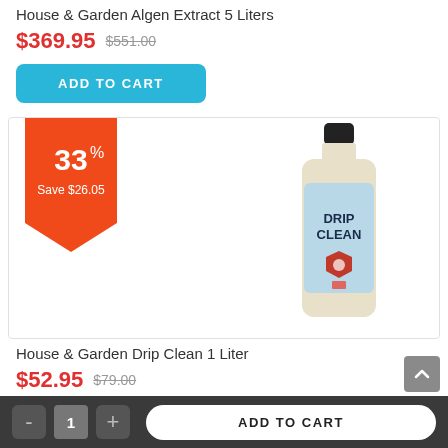House & Garden Algen Extract 5 Liters
$369.95  $551.00
ADD TO CART
[Figure (photo): Bottle of House & Garden Drip Clean 1 Liter product with blue label and orange/red discount badge showing 33% off, Save $26.05]
House & Garden Drip Clean 1 Liter
$52.95  $79.00
- 1 + ADD TO CART